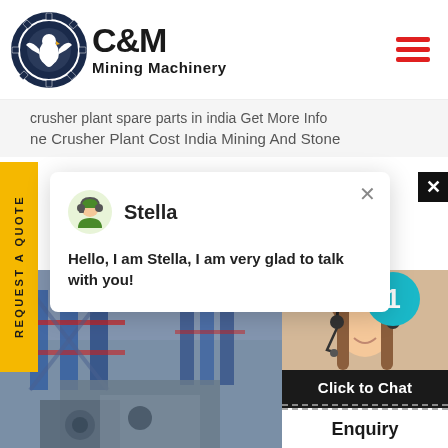[Figure (logo): C&M Mining Machinery logo with circular eagle/gear emblem and bold C&M text with Mining Machinery subtitle]
crusher plant spare parts in india Get More Info
ne Crusher Plant Cost India Mining And Stone
REQUEST A QUOTE
[Figure (screenshot): Chat popup with avatar of Stella, close button X, message: Hello, I am Stella, I am very glad to talk with you!]
[Figure (photo): Industrial mining machinery facility interior with equipment]
[Figure (photo): Female customer support agent with headset smiling with teal badge showing number 1]
Click to Chat
Enquiry